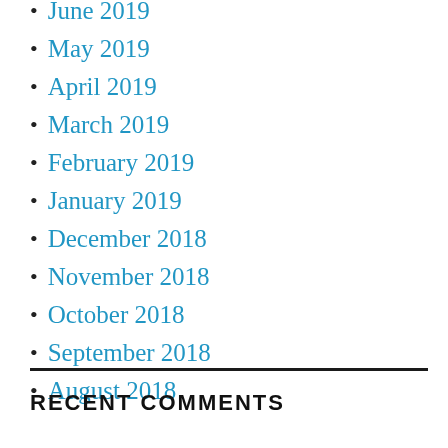June 2019
May 2019
April 2019
March 2019
February 2019
January 2019
December 2018
November 2018
October 2018
September 2018
August 2018
RECENT COMMENTS